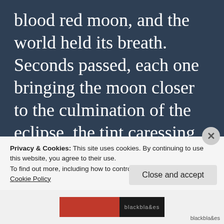blood red moon, and the world held its breath. Seconds passed, each one bringing the moon closer to the culmination of the eclipse, the tint caressing the moon with no inclination of saying goodbye. And right as the moon shone brightest, a scream rippled through the stark white hospital. The lights were dim, the sounds of Christmas
Privacy & Cookies: This site uses cookies. By continuing to use this website, you agree to their use.
To find out more, including how to control cookies, see here:
Cookie Policy
Close and accept